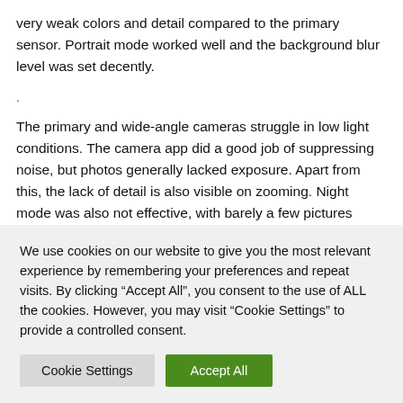very weak colors and detail compared to the primary sensor. Portrait mode worked well and the background blur level was set decently.
.
The primary and wide-angle cameras struggle in low light conditions. The camera app did a good job of suppressing noise, but photos generally lacked exposure. Apart from this, the lack of detail is also visible on zooming. Night mode was also not effective, with barely a few pictures showing
We use cookies on our website to give you the most relevant experience by remembering your preferences and repeat visits. By clicking "Accept All", you consent to the use of ALL the cookies. However, you may visit "Cookie Settings" to provide a controlled consent.